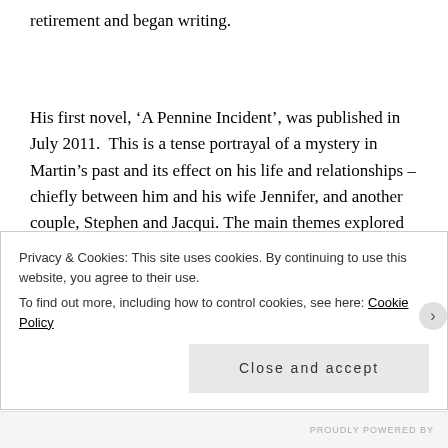retirement and began writing.
His first novel, ‘A Pennine Incident’, was published in July 2011.  This is a tense portrayal of a mystery in Martin’s past and its effect on his life and relationships – chiefly between him and his wife Jennifer, and another couple, Stephen and Jacqui. The main themes explored in the novel are the impact of a single traumatic event on the
Privacy & Cookies: This site uses cookies. By continuing to use this website, you agree to their use.
To find out more, including how to control cookies, see here: Cookie Policy
Close and accept
PROUDLY POWERED BY